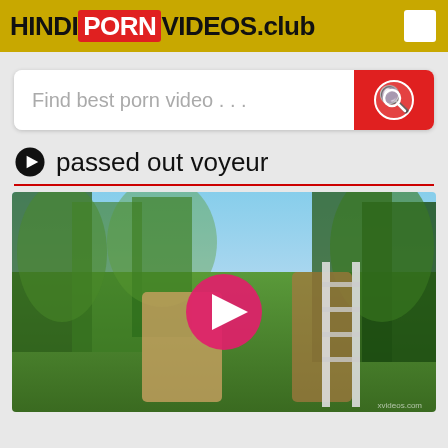HINDIPORNVIDEOS.club
Find best porn video . . .
passed out voyeur
[Figure (photo): Outdoor video thumbnail showing two people near a ladder in a forest setting, with a pink play button overlay in the center]